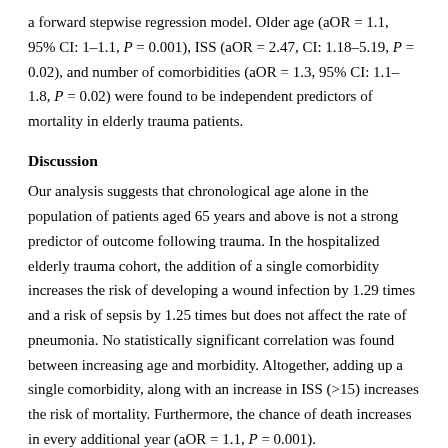a forward stepwise regression model. Older age (aOR = 1.1, 95% CI: 1–1.1, P = 0.001), ISS (aOR = 2.47, CI: 1.18–5.19, P = 0.02), and number of comorbidities (aOR = 1.3, 95% CI: 1.1–1.8, P = 0.02) were found to be independent predictors of mortality in elderly trauma patients.
Discussion
Our analysis suggests that chronological age alone in the population of patients aged 65 years and above is not a strong predictor of outcome following trauma. In the hospitalized elderly trauma cohort, the addition of a single comorbidity increases the risk of developing a wound infection by 1.29 times and a risk of sepsis by 1.25 times but does not affect the rate of pneumonia. No statistically significant correlation was found between increasing age and morbidity. Altogether, adding up a single comorbidity, along with an increase in ISS (>15) increases the risk of mortality. Furthermore, the chance of death increases in every additional year (aOR = 1.1, P = 0.001).
We found that chronological age is not a major predictor of mortality; once, more important predictors, such as injury severity and baseline physical health, are taken into account. In our study, the mean age of the patients was 78.8 years, with